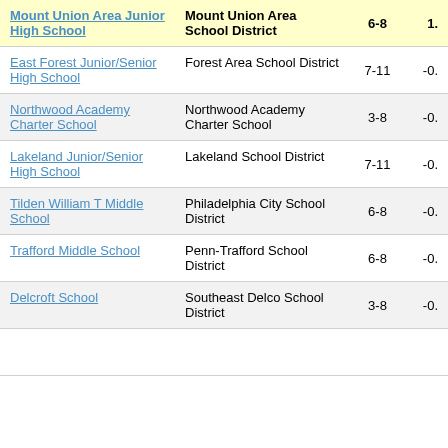| School | District | Grades | Score |
| --- | --- | --- | --- |
| Mount Union Area Junior High School | Mount Union Area School District | 6-8 | 1. |
| East Forest Junior/Senior High School | Forest Area School District | 7-11 | -0. |
| Northwood Academy Charter School | Northwood Academy Charter School | 3-8 | -0. |
| Lakeland Junior/Senior High School | Lakeland School District | 7-11 | -0. |
| Tilden William T Middle School | Philadelphia City School District | 6-8 | -0. |
| Trafford Middle School | Penn-Trafford School District | 6-8 | -0. |
| Delcroft School | Southeast Delco School District | 3-8 | -0. |
| (partial) |  |  |  |